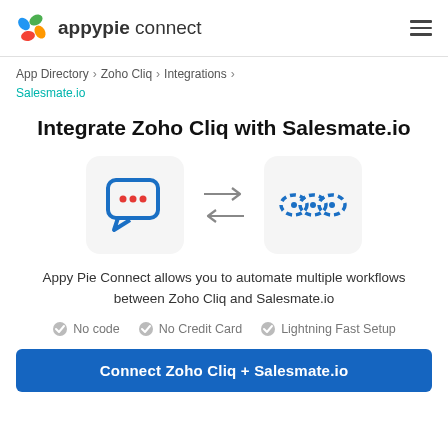appypie connect
App Directory > Zoho Cliq > Integrations > Salesmate.io
Integrate Zoho Cliq with Salesmate.io
[Figure (infographic): Two app icon boxes side by side with bidirectional arrows between them. Left box shows Zoho Cliq chat bubble icon (blue, with three red dots). Right box shows Salesmate.io chain-link icon (blue dashed circles). Arrows pointing right and left between them.]
Appy Pie Connect allows you to automate multiple workflows between Zoho Cliq and Salesmate.io
No code
No Credit Card
Lightning Fast Setup
Connect Zoho Cliq + Salesmate.io